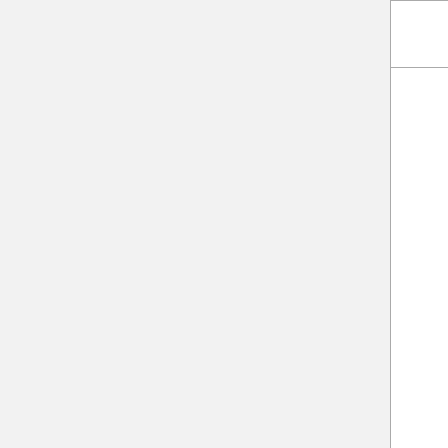| Species | Protein | Stress Conditions |
| --- | --- | --- |
|  |  | Stre... |
| Poa pratensis | Alpha tubulin-2B | • Alpha... |
| Rhodnius prolixus | α-tubulin | • Differ... Cond... |
|  |  |  |